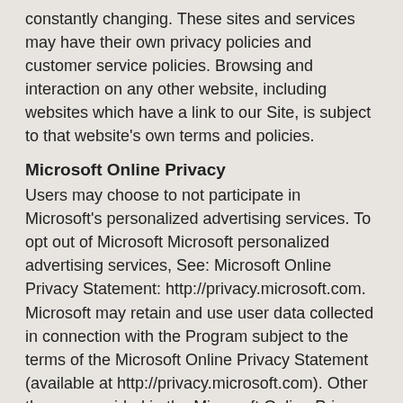constantly changing. These sites and services may have their own privacy policies and customer service policies. Browsing and interaction on any other website, including websites which have a link to our Site, is subject to that website's own terms and policies.
Microsoft Online Privacy
Users may choose to not participate in Microsoft's personalized advertising services. To opt out of Microsoft Microsoft personalized advertising services, See: Microsoft Online Privacy Statement: http://privacy.microsoft.com. Microsoft may retain and use user data collected in connection with the Program subject to the terms of the Microsoft Online Privacy Statement (available at http://privacy.microsoft.com). Other than as provided in the Microsoft Online Privacy Statement, Microsoft will not disclose to any third parties any user data collected in connection with the Program in a manner that contains or reveals any personally-identifiable information.
Changes to this privacy policy